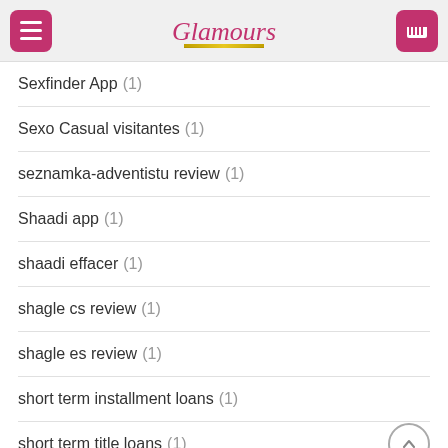Glamours
Sexfinder App (1)
Sexo Casual visitantes (1)
seznamka-adventistu review (1)
Shaadi app (1)
shaadi effacer (1)
shagle cs review (1)
shagle es review (1)
short term installment loans (1)
short term title loans (1)
Shreveport+LA+Louisiana try here (1)